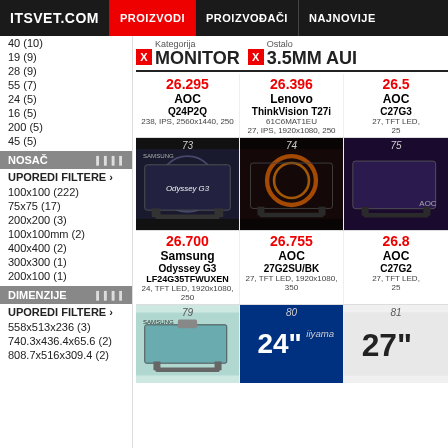ITSVET.COM | PROIZVODI | PROIZVOĐAČI | NAJNOVIJE
40 (10)
19 (9)
28 (9)
55 (7)
24 (5)
16 (5)
200 (5)
45 (5)
NOSAČ
UPOREDI FILTERE ›
100x100 (222)
75x75 (17)
200x200 (3)
100x100mm (2)
400x400 (2)
300x300 (1)
200x100 (1)
DIMENZIJE
UPOREDI FILTERE ›
558x513x236 (3)
740.3x436.4x65.6 (2)
808.7x516x309.4 (2)
Kategorija: MONITOR   Ostalo: 3.5MM AUI
| Product 1 | Product 2 | Product 3 |
| --- | --- | --- |
| 26.295 | 26.396 | 26.5... |
| AOC | Lenovo | AOC |
| Q24P2Q | ThinkVision T27i | C27G3... |
| 238, IPS, 2560x1440, 250 | 61C6MAT1EU
27, IPS, 1920x1080, 250 | 27, TFT LED,...
25... |
[Figure (screenshot): Monitor product image - Samsung Odyssey G3, item 73]
[Figure (screenshot): Monitor product image - AOC, item 74]
[Figure (screenshot): Monitor product image - AOC, item 75]
| Product 1 | Product 2 | Product 3 |
| --- | --- | --- |
| 26.700 | 26.755 | 26.8... |
| Samsung | AOC | AOC |
| Odyssey G3
LF24G35TFWUXEN | 27G2SU/BK | C27G2... |
| 24, TFT LED, 1920x1080,
250 | 27, TFT LED, 1920x1080,
350 | 27, TFT LED,...
25... |
[Figure (screenshot): Monitor product image item 79]
[Figure (screenshot): Monitor product image iiyama 24" item 80]
[Figure (screenshot): Monitor product image 27" item 81]